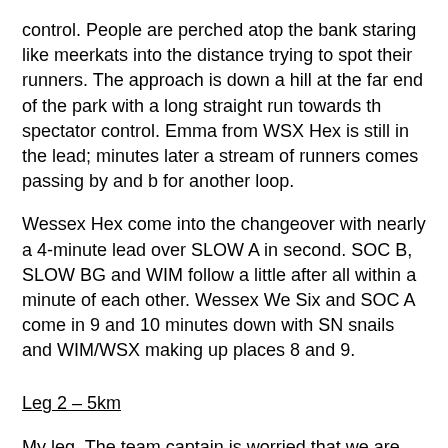control. People are perched atop the bank staring like meerkats into the distance trying to spot their runners. The approach is down a hill at the far end of the park with a long straight run towards the spectator control. Emma from WSX Hex is still in the lead; minutes later a stream of runners comes passing by and back for another loop.
Wessex Hex come into the changeover with nearly a 4-minute lead over SLOW A in second. SOC B, SLOW BG and WIM follow a little after all within a minute of each other. Wessex We Six and SOC A come in 9 and 10 minutes down with SN snails and WIM/WSX making up places 8 and 9.
Leg 2 – 5km
My leg. The team captain is worried that we are down further than expected and tells me I must run hard – but when is the instruction any different? I open my map after being tagged by the incoming runner and quickly set off towards the same bridge as the first leg runners. The first thing I notice is the frequency of controls. With 25 controls and only 200m between each on average, there is no time